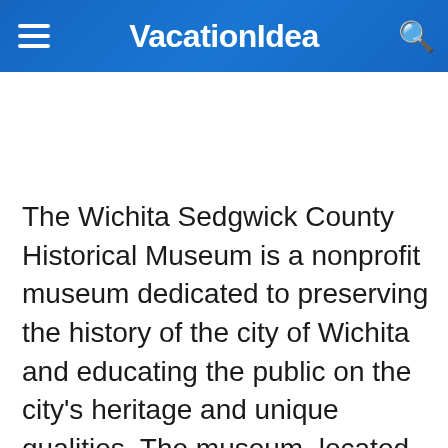VacationIdea
The Wichita Sedgwick County Historical Museum is a nonprofit museum dedicated to preserving the history of the city of Wichita and educating the public on the city's heritage and unique qualities. The museum, located downtown, resides in what was once the original City Hall. The gothic style structure houses four floors of interpretive information